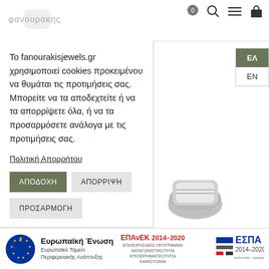φανουρακης [logo] | search | menu | cart (0)
Το fanourakisjewels.gr χρησιμοποιεί cookies προκειμένου να θυμάται τις προτιμήσεις σας. Μπορείτε να τα αποδεχτείτε ή να τα απορρίψετε όλα, ή να τα προσαρμόσετε ανάλογα με τις προτιμήσεις σας.
Πολιτική Απορρήτου
ΑΠΟΔΟΧΗ | ΑΠΟΡΡΙΨΗ | ΠΡΟΣΑΡΜΟΓΗ
[Figure (photo): Silver ring product photo, partially visible at bottom right]
Ευρωπαϊκή Ένωση - Ευρωπαϊκό Ταμείο Περιφερειακής Ανάπτυξης | ΕΠΑνΕΚ 2014-2020 ΕΠΙΧΕΙΡΗΣΙΑΚΟ ΠΡΟΓΡΑΜΜΑ ΑΝΤΑΓΩΝΙΣΤΙΚΟΤΗΤΑ ΕΠΙΧΕΙΡΗΜΑΤΙΚΟΤΗΤΑ ΚΑΙΝΟΤΟΜΙΑ | ΕΣΠΑ 2014-2020